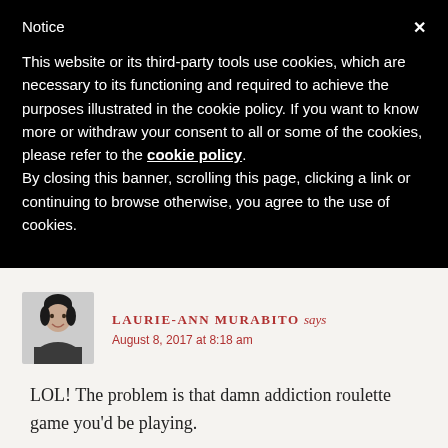Notice
This website or its third-party tools use cookies, which are necessary to its functioning and required to achieve the purposes illustrated in the cookie policy. If you want to know more or withdraw your consent to all or some of the cookies, please refer to the cookie policy.
By closing this banner, scrolling this page, clicking a link or continuing to browse otherwise, you agree to the use of cookies.
LAURIE-ANN MURABITO says
August 8, 2017 at 8:18 am
LOL! The problem is that damn addiction roulette game you'd be playing.